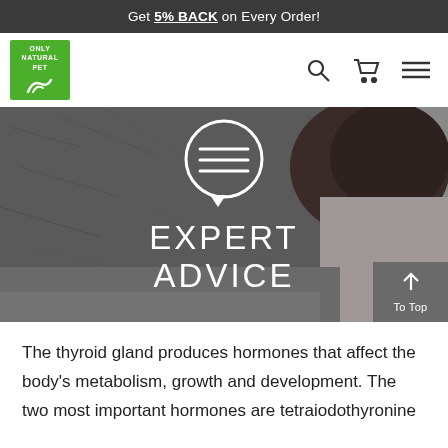Get 5% BACK on Every Order!
[Figure (logo): Only Natural Pet logo - green square with white text and paw icon]
[Figure (photo): Close-up photo of a dog's nose and fur with 'EXPERT ADVICE' text overlay and chat bubble icon]
The thyroid gland produces hormones that affect the body's metabolism, growth and development. The two most important hormones are tetraiodothyronine